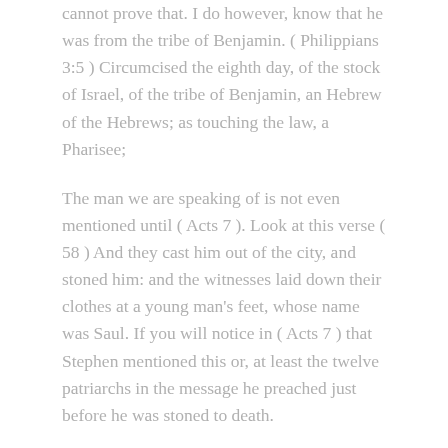cannot prove that. I do however, know that he was from the tribe of Benjamin. ( Philippians 3:5 ) Circumcised the eighth day, of the stock of Israel, of the tribe of Benjamin, an Hebrew of the Hebrews; as touching the law, a Pharisee;
The man we are speaking of is not even mentioned until ( Acts 7 ). Look at this verse ( 58 ) And they cast him out of the city, and stoned him: and the witnesses laid down their clothes at a young man's feet, whose name was Saul. If you will notice in ( Acts 7 ) that Stephen mentioned this or, at least the twelve patriarchs in the message he preached just before he was stoned to death.
The next time we see Saul is in ( Acts 9 ). We can see him mentioned in ( Acts 8 ) but in ( Acts 9 ) is where we see that man actually speak to Jesus Christ and, excepts him